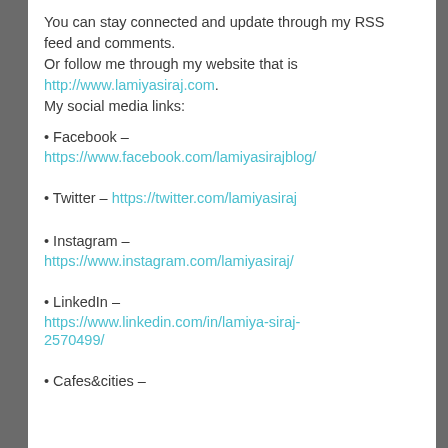You can stay connected and update through my RSS feed and comments.
Or follow me through my website that is http://www.lamiyasiraj.com.
My social media links:
• Facebook – https://www.facebook.com/lamiyasirajblog/
• Twitter – https://twitter.com/lamiyasiraj
• Instagram – https://www.instagram.com/lamiyasiraj/
• LinkedIn – https://www.linkedin.com/in/lamiya-siraj-2570499/
• Cafes&cities –